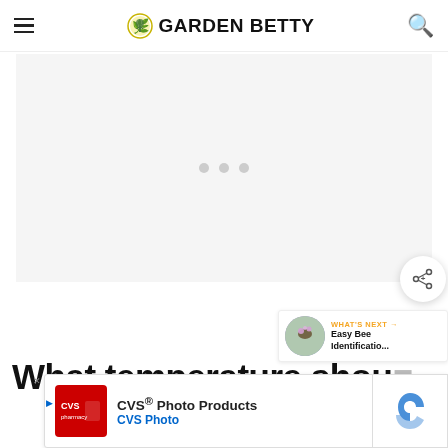GARDEN BETTY
[Figure (other): Advertisement placeholder area with three grey loading dots centered on a light grey background]
[Figure (other): Share button circular icon with share/plus symbol]
[Figure (other): What's Next panel showing a thumbnail of a bee on a flower with text 'Easy Bee Identificatio...']
What temperature shoul
[Figure (other): CVS Photo Products advertisement banner at bottom of page]